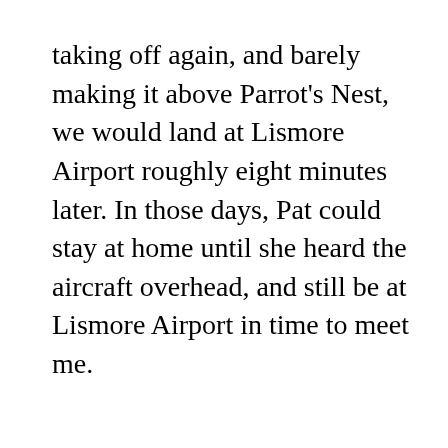taking off again, and barely making it above Parrot's Nest, we would land at Lismore Airport roughly eight minutes later. In those days, Pat could stay at home until she heard the aircraft overhead, and still be at Lismore Airport in time to meet me.